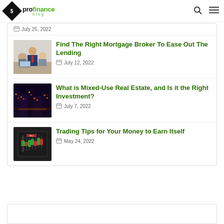profinance blog
July 25, 2022
Find The Right Mortgage Broker To Ease Out The Lending
July 12, 2022
What is Mixed-Use Real Estate, and Is it the Right Investment?
July 7, 2022
Trading Tips for Your Money to Earn Itself
May 24, 2022